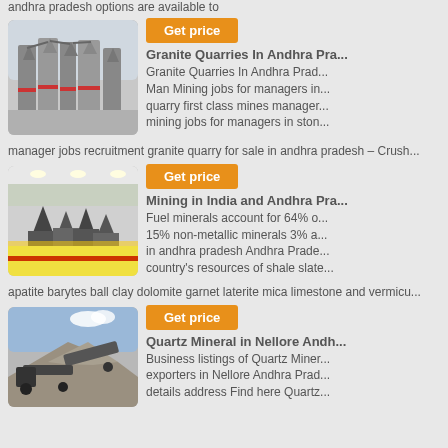andhra pradesh options are available to
[Figure (photo): Industrial grinding/milling machines in a factory setting]
Get price
Granite Quarries In Andhra Pra...
Granite Quarries In Andhra Prad... Man Mining jobs for managers in... quarry first class mines manager... mining jobs for managers in ston...
manager jobs recruitment granite quarry for sale in andhra pradesh – Crush...
[Figure (photo): Large industrial mining equipment in a warehouse/exhibition hall]
Get price
Mining in India and Andhra Pra...
Fuel minerals account for 64% o... 15% non-metallic minerals 3% a... in andhra pradesh Andhra Prade... country's resources of shale slate...
apatite barytes ball clay dolomite garnet laterite mica limestone and vermicu...
[Figure (photo): Outdoor mining/quarry equipment with stone/gravel pile]
Get price
Quartz Mineral in Nellore Andh...
Business listings of Quartz Miner... exporters in Nellore Andhra Prad... details address Find here Quartz...